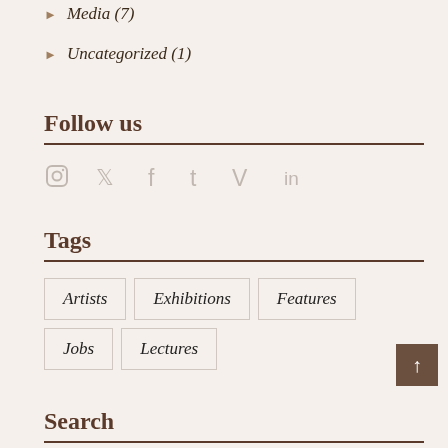Media (7)
Uncategorized (1)
Follow us
[Figure (infographic): Social media icons: Instagram, Twitter, Facebook, Tumblr, Vimeo, LinkedIn displayed as grey symbols in a row]
Tags
Artists
Exhibitions
Features
Jobs
Lectures
Search